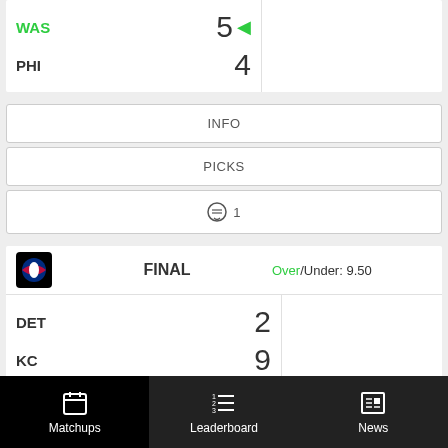WAS 5 (winner) PHI 4 — FINAL
INFO
PICKS
💬 1
FINAL — DET 2, KC 9 — Over/Under: 9.50
INFO
Matchups | Leaderboard | News